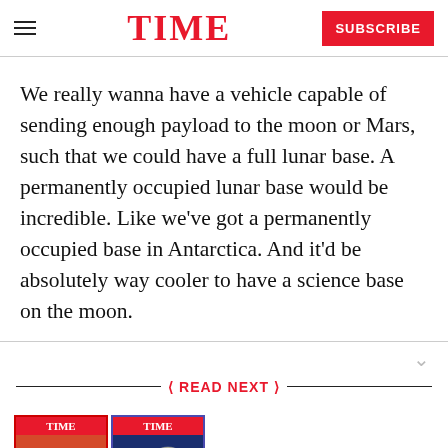TIME — SUBSCRIBE
We really wanna have a vehicle capable of sending enough payload to the moon or Mars, such that we could have a full lunar base. A permanently occupied lunar base would be incredible. Like we've got a permanently occupied base in Antarctica. And it'd be absolutely way cooler to have a science base on the moon.
READ NEXT
[Figure (photo): Two TIME magazine covers featuring space/astronaut imagery]
The Story Behind TIME's Journey to Space